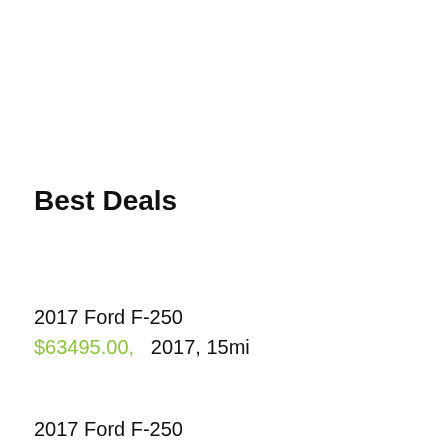Best Deals
2017 Ford F-250
$63495.00,   2017, 15mi
2017 Ford F-250